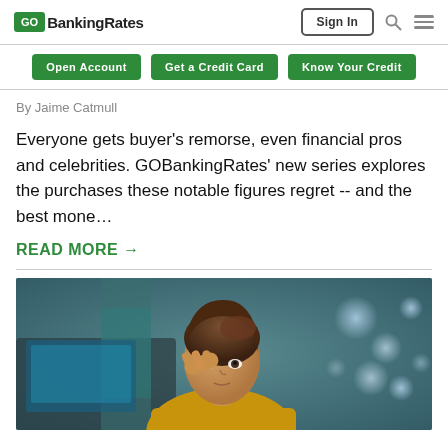GOBankingRates | Sign In
Open Account | Get a Credit Card | Know Your Credit
By Jaime Catmull
Everyone gets buyer's remorse, even financial pros and celebrities. GOBankingRates' new series explores the purchases these notable figures regret -- and the best mone…
READ MORE →
[Figure (photo): Woman in yellow shirt sitting at a laptop, resting her hand on her head, looking pensive or stressed]